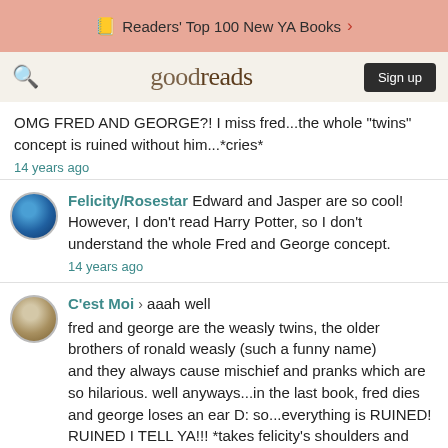Readers' Top 100 New YA Books
[Figure (screenshot): Goodreads navigation bar with search icon, goodreads logo, and Sign up button]
OMG FRED AND GEORGE?! I miss fred...the whole "twins" concept is ruined without him...*cries*
14 years ago
Felicity/Rosestar Edward and Jasper are so cool! However, I don't read Harry Potter, so I don't understand the whole Fred and George concept.
14 years ago
C'est Moi › aaah well
fred and george are the weasly twins, the older brothers of ronald weasly (such a funny name)
and they always cause mischief and pranks which are so hilarious. well anyways...in the last book, fred dies and george loses an ear D: so...everything is RUINED! RUINED I TELL YA!!! *takes felicity's shoulders and shakes her back and forth* THE WORLD IS GOING TO END!!!!!!!